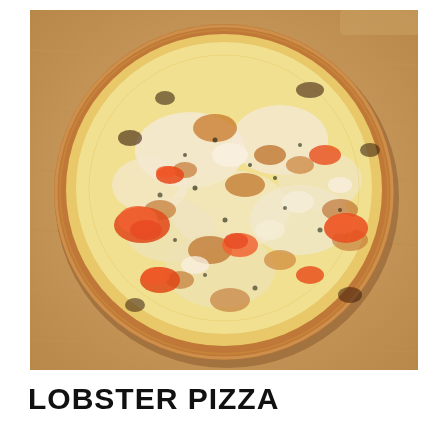[Figure (photo): A close-up photograph of a lobster pizza on a wooden cutting board. The pizza has a golden-brown crust with melted mozzarella cheese, visible chunks of orange-red lobster meat, browned spots, and herbs scattered across the top.]
LOBSTER PIZZA